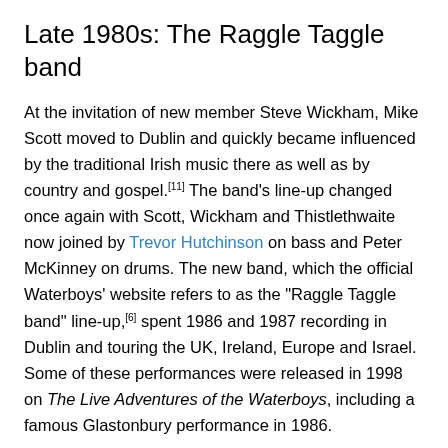Late 1980s: The Raggle Taggle band
At the invitation of new member Steve Wickham, Mike Scott moved to Dublin and quickly became influenced by the traditional Irish music there as well as by country and gospel.[11] The band's line-up changed once again with Scott, Wickham and Thistlethwaite now joined by Trevor Hutchinson on bass and Peter McKinney on drums. The new band, which the official Waterboys' website refers to as the "Raggle Taggle band" line-up,[6] spent 1986 and 1987 recording in Dublin and touring the UK, Ireland, Europe and Israel. Some of these performances were released in 1998 on The Live Adventures of the Waterboys, including a famous Glastonbury performance in 1986.
In 1988 Scott took the band to Spiddal in the west of Ireland where they set up a recording studio in Spiddal House to finish recording their new album. Fisherman's Blues was released in October 1988 and showcased many guest musicians that had played with the band in Dublin and